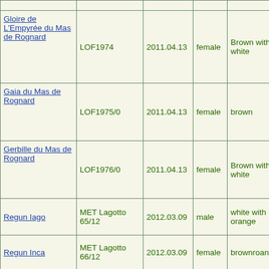| Name | Registration | Date | Sex | Color |  |  |  |
| --- | --- | --- | --- | --- | --- | --- | --- |
| Gloire de L'Empyrée du Mas de Rognard | LOF1974 | 2011.04.13 | female | Brown with white | A | -- |  |
| Gaia du Mas de Rognard | LOF1975/0 | 2011.04.13 | female | brown |  |  |  |
| Gerbille du Mas de Rognard | LOF1976/0 | 2011.04.13 | female | Brown with white |  |  |  |
| Regun Iago | MET Lagotto 65/12 | 2012.03.09 | male | white with orange |  | +- |  |
| Regun Inca | MET Lagotto 66/12 | 2012.03.09 | female | brownroan |  | -- |  |
| Regun Iana | MET Lagotto 67/12 | 2012.03.09 | female | brownroan |  | -- |  |
| Regun Ilca | MET Lagotto 68/12, LOI13/104912 | 2012.03.09 | female | brownroan | B | +- |  |
| Regun Idra | MET Lagotto 69/12 | 2012.03.09 | female | orange | B | +- |  |
|  | MET Lagotto |  |  |  |  |  |  |